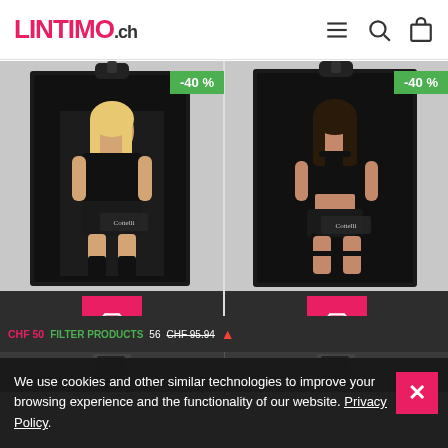LINTIMO.ch
[Figure (screenshot): Product listing page from LINTIMO.ch showing two Cottelli BONDAGE lingerie sets in black packaging with -40% discount badges, add-to-cart buttons, and a cookie consent banner overlay at the bottom.]
We use cookies and other similar technologies to improve your browsing experience and the functionality of our website. Privacy Policy.